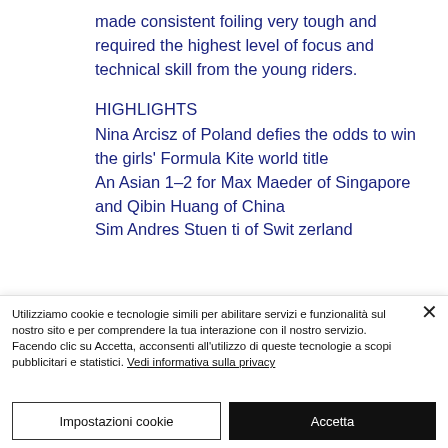made consistent foiling very tough and required the highest level of focus and technical skill from the young riders.
HIGHLIGHTS
Nina Arcisz of Poland defies the odds to win the girls' Formula Kite world title
An Asian 1-2 for Max Maeder of Singapore and Qibin Huang of China
Sim Andres Stuen ti of Swit-
Utilizziamo cookie e tecnologie simili per abilitare servizi e funzionalità sul nostro sito e per comprendere la tua interazione con il nostro servizio.
Facendo clic su Accetta, acconsenti all'utilizzo di queste tecnologie a scopi pubblicitari e statistici. Vedi informativa sulla privacy
Impostazioni cookie
Accetta